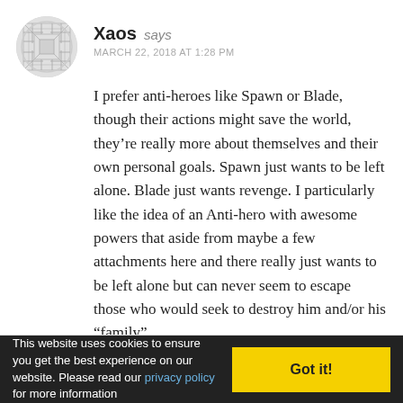Xaos says
MARCH 22, 2018 AT 1:28 PM
I prefer anti-heroes like Spawn or Blade, though their actions might save the world, they’re really more about themselves and their own personal goals. Spawn just wants to be left alone. Blade just wants revenge. I particularly like the idea of an Anti-hero with awesome powers that aside from maybe a few attachments here and there really just wants to be left alone but can never seem to escape those who would seek to destroy him and/or his “family”.
REPLY
This website uses cookies to ensure you get the best experience on our website. Please read our privacy policy for more information
Got it!